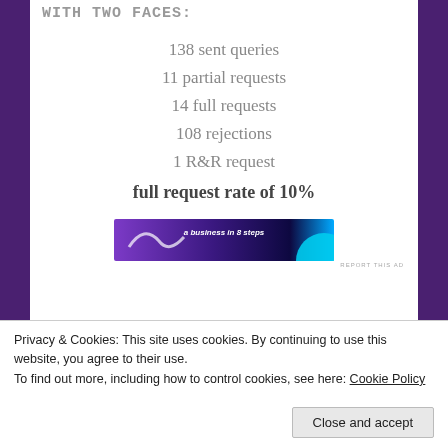WITH TWO FACES:
138 sent queries
11 partial requests
14 full requests
108 rejections
1 R&R request
full request rate of 10%
[Figure (infographic): Advertisement banner with purple and teal gradient background and text 'a business in 8 steps']
REPORT THIS AD
Privacy & Cookies: This site uses cookies. By continuing to use this website, you agree to their use.
To find out more, including how to control cookies, see here: Cookie Policy
Close and accept